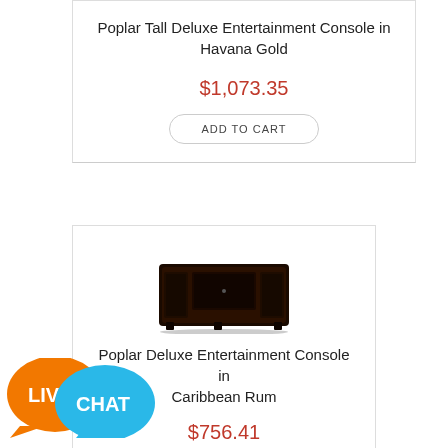Poplar Tall Deluxe Entertainment Console in Havana Gold
$1,073.35
ADD TO CART
[Figure (photo): Dark wood Poplar Deluxe Entertainment Console furniture product photo]
Poplar Deluxe Entertainment Console in Caribbean Rum
$756.41
[Figure (logo): Live Chat button badge with orange and blue speech bubbles]